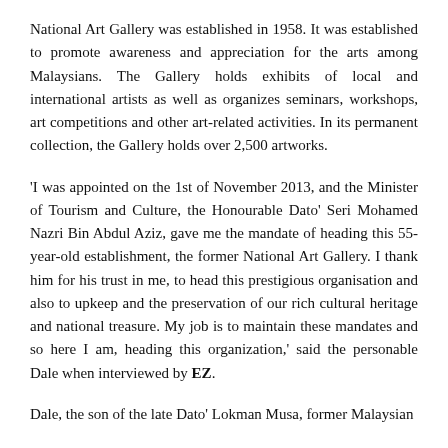National Art Gallery was established in 1958. It was established to promote awareness and appreciation for the arts among Malaysians. The Gallery holds exhibits of local and international artists as well as organizes seminars, workshops, art competitions and other art-related activities. In its permanent collection, the Gallery holds over 2,500 artworks.
'I was appointed on the 1st of November 2013, and the Minister of Tourism and Culture, the Honourable Dato' Seri Mohamed Nazri Bin Abdul Aziz, gave me the mandate of heading this 55-year-old establishment, the former National Art Gallery. I thank him for his trust in me, to head this prestigious organisation and also to upkeep and the preservation of our rich cultural heritage and national treasure. My job is to maintain these mandates and so here I am, heading this organization,' said the personable Dale when interviewed by EZ.
Dale, the son of the late Dato' Lokman Musa, former Malaysian